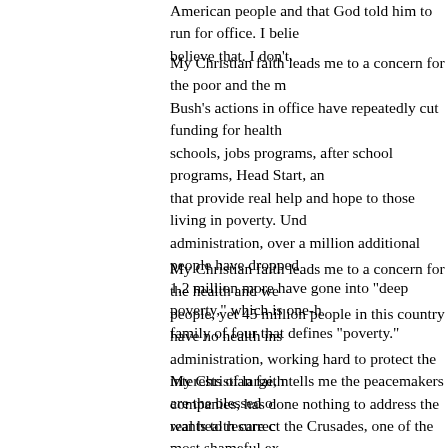American people and that God told him to run for office. I believe that. I don't.
My Christian faith leads me to a concern for the poor and the m... Bush's actions in office have repeatedly cut funding for health schools, jobs programs, after school programs, Head Start, an... that provide real help and hope to those living in poverty. Und... administration, over a million additional people have dropped... 1.2 million more have gone into "deep poverty," which is one-h... family of four that defines "poverty."
My Christian faith leads me to a concern for the health and we... people, yet 45 million people in this country have no health ins... administration, working hard to protect the interests of large, n... companies, has done nothing to address the real health care c...
My Christian faith tells me the peacemakers are the blessed o... wants to resurrect the Crusades, one of the most shameful ex... history. I fail to understand how lying to the people of the Unite the many justifications they have used for going to war in Iraq... any way, shape, or form a remotely Christian activity. Yes, Jesu to bring peace, but a sword." He was talking about liberating h... within, not invading an oil-rich country out of purely selfish mo... was for the liberation of others. The only true liberation comes claim it for themselves. This is something George Bush and his...